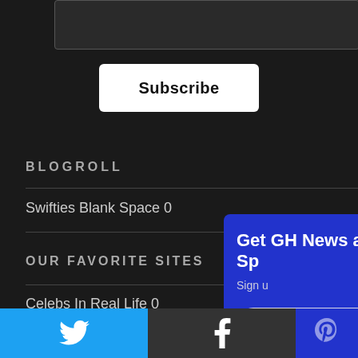[Figure (screenshot): Dark input text area at the top of the page]
Subscribe
BLOGROLL
Swifties Blank Space 0
OUR FAVORITE SITES
Celebs In Real Life 0
Michigan Refinance 0
[Figure (screenshot): Blue modal overlay panel with 'Get GH News and Sp...' heading, Sign u... subtitle, Email input field, and Sign... green button]
[Figure (infographic): Social media bar at bottom with Twitter (cyan), Facebook (dark), and Pinterest (blue) icons]